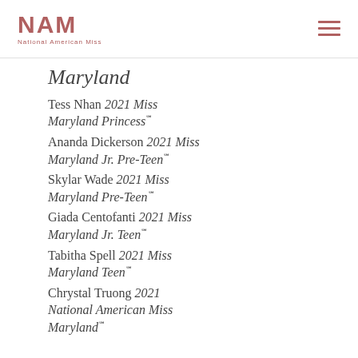NAM National American Miss
Maryland
Tess Nhan 2021 Miss Maryland Princess℠
Ananda Dickerson 2021 Miss Maryland Jr. Pre-Teen℠
Skylar Wade 2021 Miss Maryland Pre-Teen℠
Giada Centofanti 2021 Miss Maryland Jr. Teen℠
Tabitha Spell 2021 Miss Maryland Teen℠
Chrystal Truong 2021 National American Miss Maryland℠